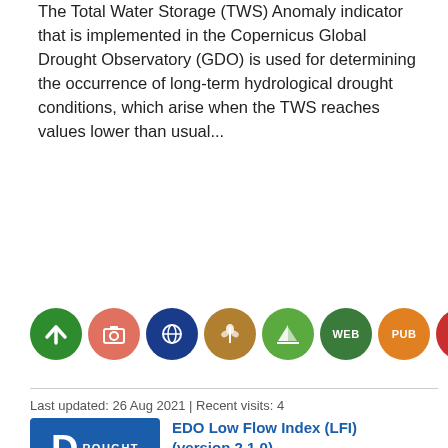The Total Water Storage (TWS) Anomaly indicator that is implemented in the Copernicus Global Drought Observatory (GDO) is used for determining the occurrence of long-term hydrological drought conditions, which arise when the TWS reaches values lower than usual...
[Figure (infographic): Row of colored circular icon buttons: green arrow, salmon photo/camera, dark blue eye/globe, gold wheat, lime green sail, then green WEB, orange PUB, red DWN, grey-blue GEO buttons]
Last updated: 26 Aug 2021 | Recent visits: 4
[Figure (logo): Blue badge with large D and text ROUGHT forming DROUGHT]
EDO Low Flow Index (LFI) (version 2.1.0)
The LFI indicator exploits the simulated 6-hours river water discharge outputs of the JRC's in-